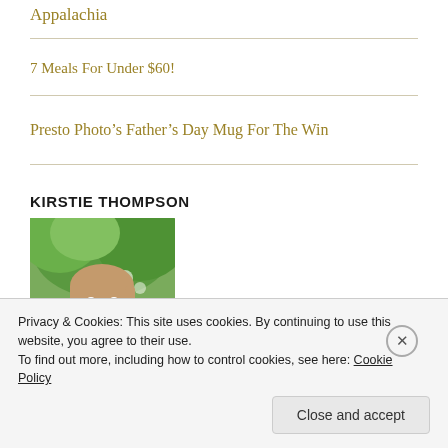Appalachia
7 Meals For Under $60!
Presto Photo’s Father’s Day Mug For The Win
KIRSTIE THOMPSON
[Figure (photo): Portrait photo of a young woman with brown hair, smiling, outdoors with green foliage in background]
Privacy & Cookies: This site uses cookies. By continuing to use this website, you agree to their use. To find out more, including how to control cookies, see here: Cookie Policy
Close and accept